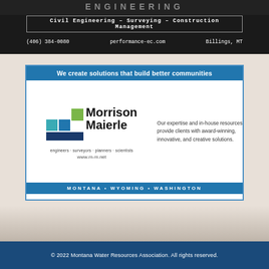[Figure (photo): Dark construction/engineering site banner with company name partially visible at top]
Civil Engineering – Surveying – Construction Management
(406) 384-0080     performance-ec.com     Billings, MT
[Figure (logo): Morrison Maierle advertisement with blue header saying 'We create solutions that build better communities', Morrison Maierle logo with colored squares, tagline 'engineers · surveyors · planners · scientists', website www.m-m.net, text about expertise, and footer showing MONTANA • WYOMING • WASHINGTON]
© 2022 Montana Water Resources Association. All rights reserved.